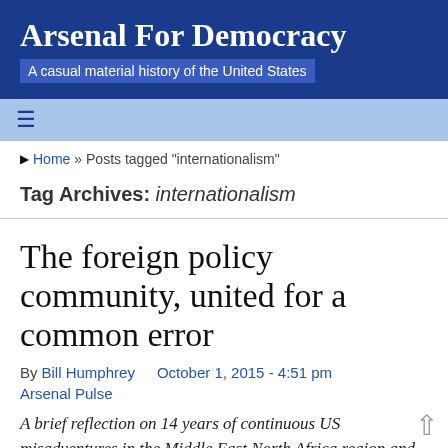Arsenal For Democracy
A casual material history of the United States
≡
Home » Posts tagged "internationalism"
Tag Archives: internationalism
The foreign policy community, united for a common error
By Bill Humphrey   October 1, 2015 - 4:51 pm   Arsenal Pulse
A brief reflection on 14 years of continuous US misadventures in the Middle East North Africa region and the mainstream